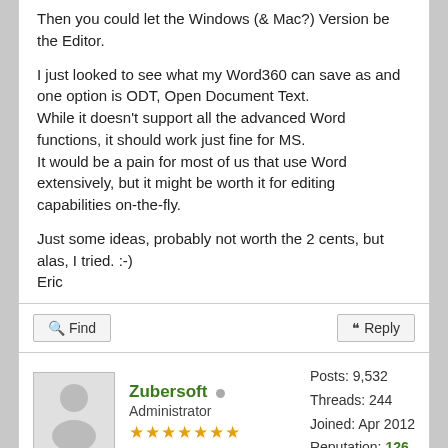Then you could let the Windows (& Mac?) Version be the Editor.

I just looked to see what my Word360 can save as and one option is ODT, Open Document Text.
While it doesn't support all the advanced Word functions, it should work just fine for MS.
It would be a pain for most of us that use Word extensively, but it might be worth it for editing capabilities on-the-fly.

Just some ideas, probably not worth the 2 cents, but alas, I tried. :-)
Eric
Find
Reply
Zubersoft  Administrator ★★★★★★★
Posts: 9,532
Threads: 244
Joined: Apr 2012
Reputation: 126
04-24-2021, 02:11 AM
#5